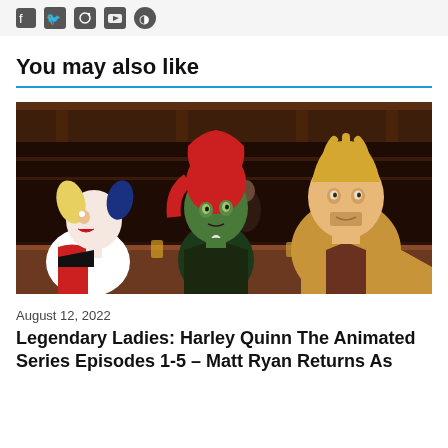social media icons (Twitter, Instagram, YouTube, etc.)
You may also like
[Figure (illustration): Animated scene from Harley Quinn The Animated Series showing Harley Quinn on the left with blonde pigtails and red/black costume, Poison Ivy in the center with red hair and green skin wearing a dark outfit, and a blonde man in a tan jacket on the right, seated at what appears to be a bar.]
August 12, 2022
Legendary Ladies: Harley Quinn The Animated Series Episodes 1-5 – Matt Ryan Returns As